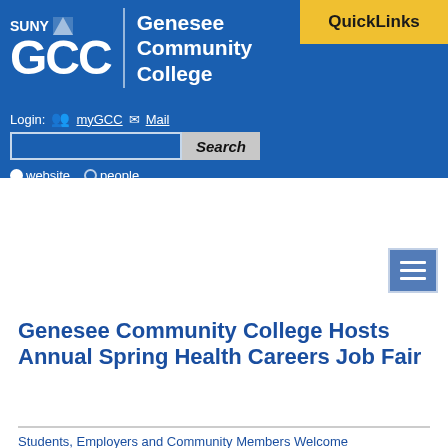[Figure (logo): SUNY GCC Genesee Community College logo in white on blue background]
QuickLinks
Login: myGCC  Mail
Search
website  people
ENROLL NOW
APPLY
REQUEST INFORMATION
STUDENT
EMPLOYEE
Genesee Community College Hosts Annual Spring Health Careers Job Fair
Students, Employers and Community Members Welcome